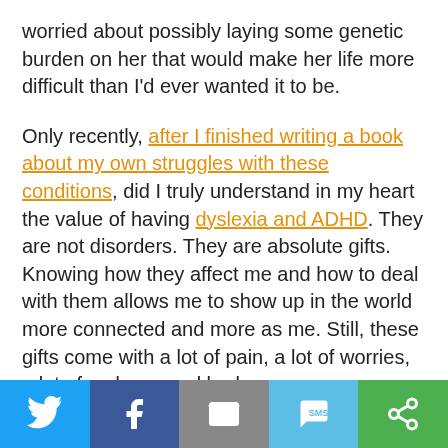worried about possibly laying some genetic burden on her that would make her life more difficult than I'd ever wanted it to be.
Only recently, after I finished writing a book about my own struggles with these conditions, did I truly understand in my heart the value of having dyslexia and ADHD. They are not disorders. They are absolute gifts. Knowing how they affect me and how to deal with them allows me to show up in the world more connected and more as me. Still, these gifts come with a lot of pain, a lot of worries, a lot of sadness and brokenness.
If Journey has one of those gifts, who better